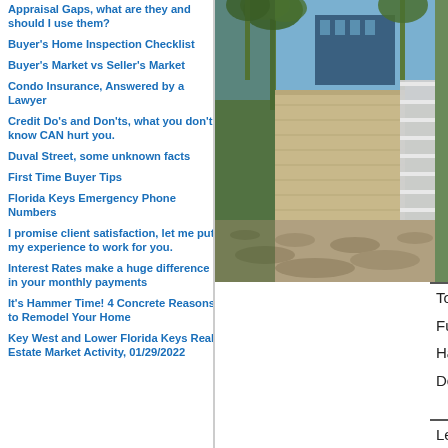Appraisal Gaps, what are they and should I use them?
Buyer's Home Inspection Checklist
Buyer's Market vs Seller's Market
Condo Insurance, Answered by a Lawyer
Credit Do's and Don'ts, what you don't know CAN hurt you.
Duval Street, some unknown facts
First Time Buyer Tips
Florida Keys Emergency Phone Numbers
I promise client satisfaction, let me put my experience to work for you.
Interest Rates make a huge difference in your monthly payments
It's Hammer Time! 4 Concrete Reasons to Remodel Your Home
Key West and Lower Florida Keys Real Estate Market Activity, 01/29/2022
[Figure (photo): Exterior photo of a property showing a concrete/stucco wall, a white metal fence gate, sandy ground, and tropical palm trees in the background with a building visible.]
| Total Bedrooms | 3 |
| Full Baths | 2 |
| Half Baths | 0 |
| Dcmntd Septic Tnk |  |
Legal: KEY HAVEN TENTH ADD